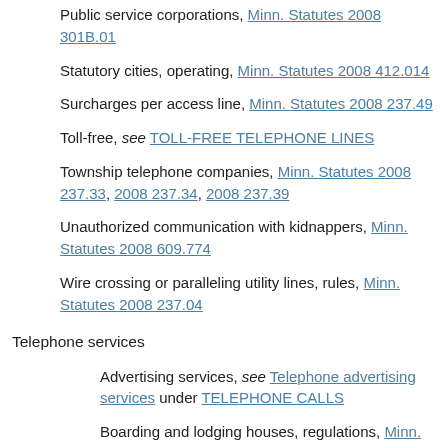Public service corporations, Minn. Statutes 2008 301B.01
Statutory cities, operating, Minn. Statutes 2008 412.014
Surcharges per access line, Minn. Statutes 2008 237.49
Toll-free, see TOLL-FREE TELEPHONE LINES
Township telephone companies, Minn. Statutes 2008 237.33, 2008 237.34, 2008 237.39
Unauthorized communication with kidnappers, Minn. Statutes 2008 609.774
Wire crossing or paralleling utility lines, rules, Minn. Statutes 2008 237.04
Telephone services
Advertising services, see Telephone advertising services under TELEPHONE CALLS
Boarding and lodging houses, regulations, Minn. Statutes 2008 237.067